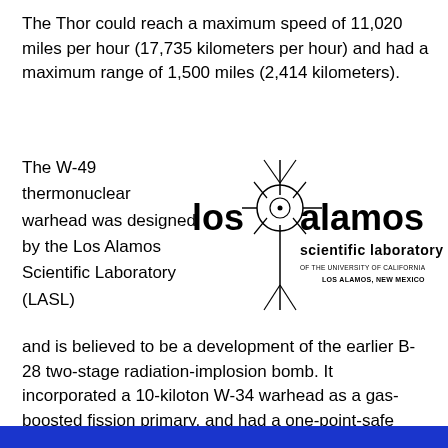The Thor could reach a maximum speed of 11,020 miles per hour (17,735 kilometers per hour) and had a maximum range of 1,500 miles (2,414 kilometers).
The W-49 thermonuclear warhead was designed by the Los Alamos Scientific Laboratory (LASL)
[Figure (logo): Los Alamos Scientific Laboratory logo of the University of California, Los Alamos, New Mexico. Features the text 'los alamos scientific laboratory' with a circular crosshair/target graphic between 'los' and 'alamos'.]
and is believed to be a development of the earlier B-28 two-stage radiation-implosion bomb. It incorporated a 10-kiloton W-34 warhead as a gas-boosted fission primary, and had a one-point-safe safety system. The warhead had a diameter of 1 foot, 8 inches (0.508 meters) and length of  4 feet, 6.3 inches (1.379 meters). It weighed 1,665 pounds (755 kilograms).